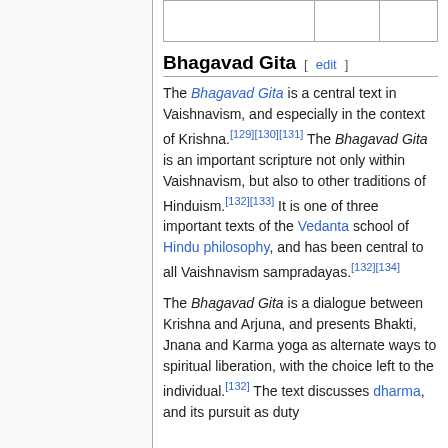|  |  |  |
Bhagavad Gita [ edit ]
The Bhagavad Gita is a central text in Vaishnavism, and especially in the context of Krishna.[129][130][131] The Bhagavad Gita is an important scripture not only within Vaishnavism, but also to other traditions of Hinduism.[132][133] It is one of three important texts of the Vedanta school of Hindu philosophy, and has been central to all Vaishnavism sampradayas.[132][134]
The Bhagavad Gita is a dialogue between Krishna and Arjuna, and presents Bhakti, Jnana and Karma yoga as alternate ways to spiritual liberation, with the choice left to the individual.[132] The text discusses dharma, and its pursuit as duty